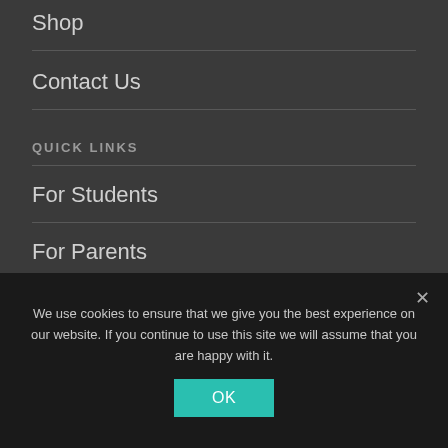Shop
Contact Us
QUICK LINKS
For Students
For Parents
For Tutors or Teachers
Tutor List
We use cookies to ensure that we give you the best experience on our website. If you continue to use this site we will assume that you are happy with it.